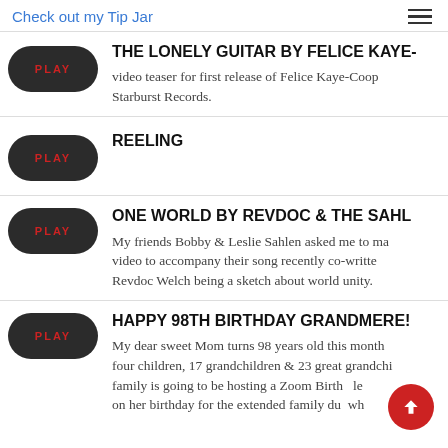Check out my Tip Jar
THE LONELY GUITAR BY FELICE KAYE-
video teaser for first release of Felice Kaye-Coop Starburst Records.
REELING
ONE WORLD BY REVDOC & THE SAHL
My friends Bobby & Leslie Sahlen asked me to ma video to accompany their song recently co-writte Revdoc Welch being a sketch about world unity.
HAPPY 98TH BIRTHDAY GRANDMERE!
My dear sweet Mom turns 98 years old this month four children, 17 grandchildren & 23 great grandchi family is going to be hosting a Zoom Birth le on her birthday for the extended family du wh